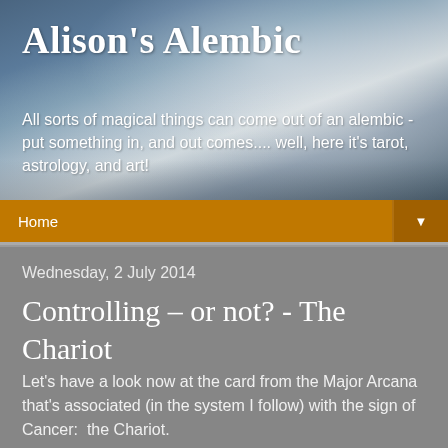[Figure (photo): Rocky or cloudy landscape in blue-grey tones forming the blog header background]
Alison's Alembic
All sorts of magical things can come out of an alembic - put something in, and out comes.... well, here it's tarot, astrology, and art!
Home ▼
Wednesday, 2 July 2014
Controlling – or not? - The Chariot
Let's have a look now at the card from the Major Arcana that's associated (in the system I follow) with the sign of Cancer:  the Chariot.